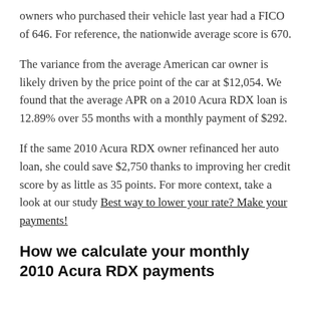owners who purchased their vehicle last year had a FICO of 646. For reference, the nationwide average score is 670.
The variance from the average American car owner is likely driven by the price point of the car at $12,054. We found that the average APR on a 2010 Acura RDX loan is 12.89% over 55 months with a monthly payment of $292.
If the same 2010 Acura RDX owner refinanced her auto loan, she could save $2,750 thanks to improving her credit score by as little as 35 points. For more context, take a look at our study Best way to lower your rate? Make your payments!
How we calculate your monthly 2010 Acura RDX payments